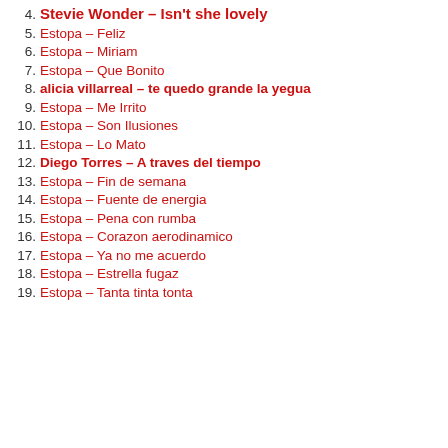4. Stevie Wonder – Isn't she lovely
5. Estopa – Feliz
6. Estopa – Miriam
7. Estopa – Que Bonito
8. alicia villarreal – te quedo grande la yegua
9. Estopa – Me Irrito
10. Estopa – Son Ilusiones
11. Estopa – Lo Mato
12. Diego Torres – A traves del tiempo
13. Estopa – Fin de semana
14. Estopa – Fuente de energia
15. Estopa – Pena con rumba
16. Estopa – Corazon aerodinamico
17. Estopa – Ya no me acuerdo
18. Estopa – Estrella fugaz
19. Estopa – Tanta tinta tonta